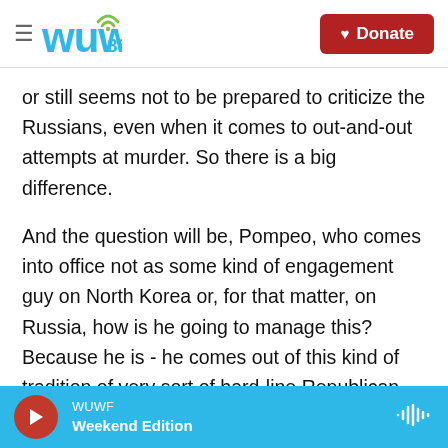WUWF 88.1 — Donate
or still seems not to be prepared to criticize the Russians, even when it comes to out-and-out attempts at murder. So there is a big difference.
And the question will be, Pompeo, who comes into office not as some kind of engagement guy on North Korea or, for that matter, on Russia, how is he going to manage this? Because he is - he comes out of this kind of tradition of very sort of hard-line Republican national security thinkers. And he does not seem to be the sort of person who would be first to suggest that our president should go and have a chat with Kim Jong Un.
WUWF Weekend Edition